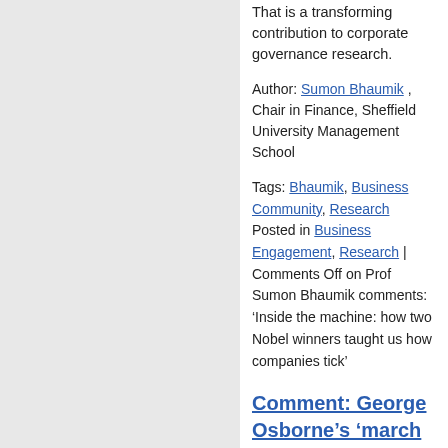That is a transforming contribution to corporate governance research.
Author: Sumon Bhaumik , Chair in Finance, Sheffield University Management School
Tags: Bhaumik, Business Community, Research Posted in Business Engagement, Research | Comments Off on Prof Sumon Bhaumik comments: ‘Inside the machine: how two Nobel winners taught us how companies tick’
Comment: George Osborne’s ‘march of the makers’ will need Europe on its route map. By Prof Sumon